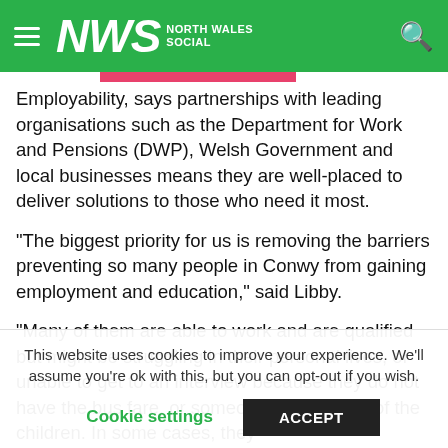NWS NORTH WALES SOCIAL
Employability, says partnerships with leading organisations such as the Department for Work and Pensions (DWP), Welsh Government and local businesses means they are well-placed to deliver solutions to those who need it most.
“The biggest priority for us is removing the barriers preventing so many people in Conwy from gaining employment and education,” said Libby.
“Many of them are able to work and are qualified but might be struggling in their personal lives, or unable to get to an interview because they do not have the bus fare, or someone to take care of the children. In some cases, they
This website uses cookies to improve your experience. We’ll assume you’re ok with this, but you can opt-out if you wish.
Cookie settings   ACCEPT